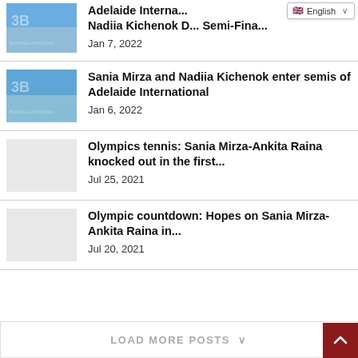Adelaide Interna... Nadiia Kichenok D... Semi-Finals... | Jan 7, 2022
Sania Mirza and Nadiia Kichenok enter semis of Adelaide International | Jan 6, 2022
Olympics tennis: Sania Mirza-Ankita Raina knocked out in the first... | Jul 25, 2021
Olympic countdown: Hopes on Sania Mirza-Ankita Raina in... | Jul 20, 2021
LOAD MORE POSTS